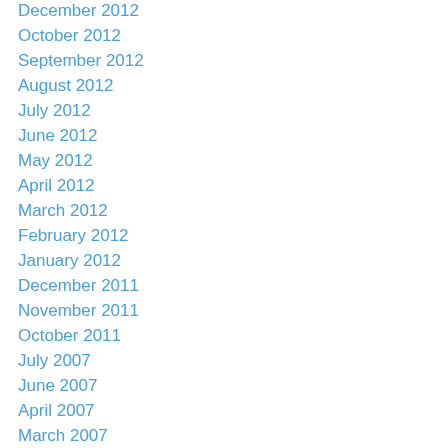December 2012
October 2012
September 2012
August 2012
July 2012
June 2012
May 2012
April 2012
March 2012
February 2012
January 2012
December 2011
November 2011
October 2011
July 2007
June 2007
April 2007
March 2007
February 2007
January 2007